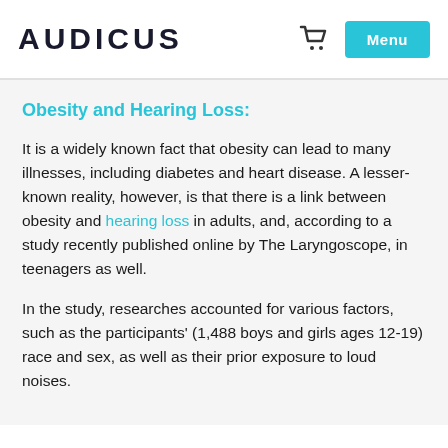AUDICUS
Obesity and Hearing Loss:
It is a widely known fact that obesity can lead to many illnesses, including diabetes and heart disease. A lesser-known reality, however, is that there is a link between obesity and hearing loss in adults, and, according to a study recently published online by The Laryngoscope, in teenagers as well.
In the study, researches accounted for various factors, such as the participants' (1,488 boys and girls ages 12-19) race and sex, as well as their prior exposure to loud noises.